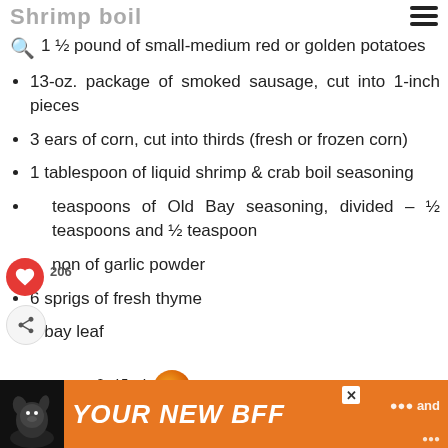Shrimp boil
1 ½ pound of small-medium red or golden potatoes
13-oz. package of smoked sausage, cut into 1-inch pieces
3 ears of corn, cut into thirds (fresh or frozen corn)
1 tablespoon of liquid shrimp & crab boil seasoning
teaspoons of Old Bay seasoning, divided – ½ teaspoons and ½ teaspoon
non of garlic powder
6 sprigs of fresh thyme
1 bay leaf